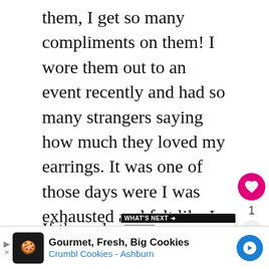them, I get so many compliments on them! I wore them out to an event recently and had so many strangers saying how much they loved my earrings. It was one of those days were I was exhausted and felt like I looked exhausted. (Tell me you know those days!) However, these earrings spiced things up a bit and allowed people to look past the bags under my eyes and see a pair of really fun earrings!
If the colors make you nervous, the particular ones come in 3 different color combinations, including one for the fall colors and one you are going to love
[Figure (screenshot): WHAT'S NEXT banner with thumbnail showing Top 5 Best Cubic Zirco...]
[Figure (infographic): Social action buttons: heart (like) button showing count of 1, and share button]
[Figure (screenshot): Advertisement bar at bottom: Gourmet, Fresh, Big Cookies - Crumbl Cookies - Ashburn]